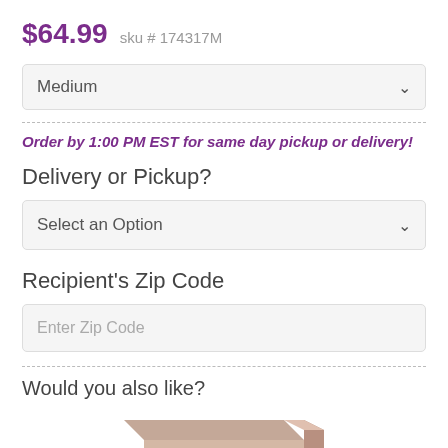$64.99  sku # 174317M
Medium
Order by 1:00 PM EST for same day pickup or delivery!
Delivery or Pickup?
Select an Option
Recipient's Zip Code
Enter Zip Code
Would you also like?
[Figure (photo): Partial view of a product box, beige/tan colored, partially cut off at the bottom of the page.]